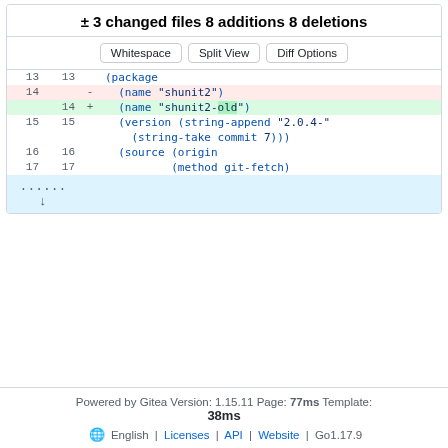± 3 changed files 8 additions 8 deletions
Whitespace | Split View | Diff Options
| old | new | marker | code |
| --- | --- | --- | --- |
| 13 | 13 |  | (package |
| 14 |  | - | (name "shunit2") |
|  | 14 | + | (name "shunit2-old") |
| 15 | 15 |  | (version (string-append "2.0.4-" |
|  |  |  | (string-take commit 7))) |
| 16 | 16 |  | (source (origin |
| 17 | 17 |  | (method git-fetch) |
|  |  | ↓ |  |
Powered by Gitea Version: 1.15.11 Page: 77ms Template: 38ms English | Licenses | API | Website | Go1.17.9